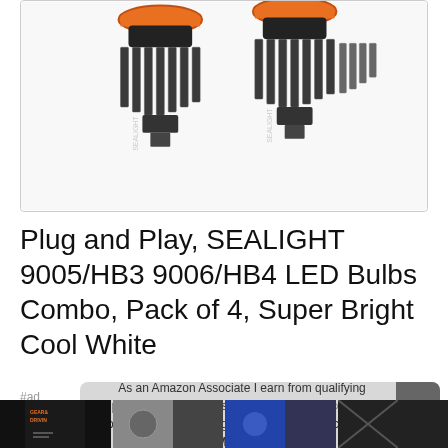[Figure (photo): Two SEALIGHT LED headlight bulbs side by side, showing heat sink fins and orange base rings on a white background]
Plug and Play, SEALIGHT 9005/HB3 9006/HB4 LED Bulbs Combo, Pack of 4, Super Bright Cool White
#ad
As an Amazon Associate I earn from qualifying purchases. This website uses the only necessary cookies to ensure you get the best experience on our website. More information